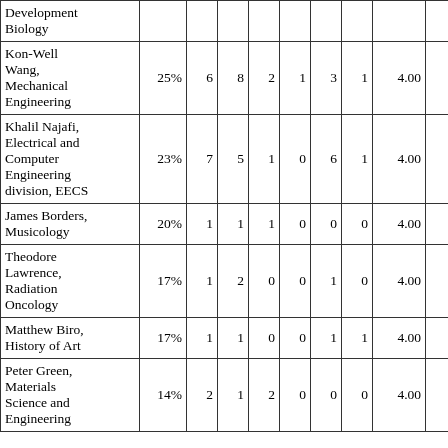| Development Biology |  |  |  |  |  |  |  |  |  |  |
| Kon-Well Wang, Mechanical Engineering | 25% | 6 | 8 | 2 | 1 | 3 | 1 | 4.00 | 4.25 |  |
| Khalil Najafi, Electrical and Computer Engineering division, EECS | 23% | 7 | 5 | 1 | 0 | 6 | 1 | 4.00 | 3.50 |  |
| James Borders, Musicology | 20% | 1 | 1 | 1 | 0 | 0 | 0 | 4.00 | 4.00 |  |
| Theodore Lawrence, Radiation Oncology | 17% | 1 | 2 | 0 | 0 | 1 | 0 | 4.00 | 4.75 |  |
| Matthew Biro, History of Art | 17% | 1 | 1 | 0 | 0 | 1 | 1 | 4.00 |  |  |
| Peter Green, Materials Science and Engineering | 14% | 2 | 1 | 2 | 0 | 0 | 0 | 4.00 | 4.75 |  |